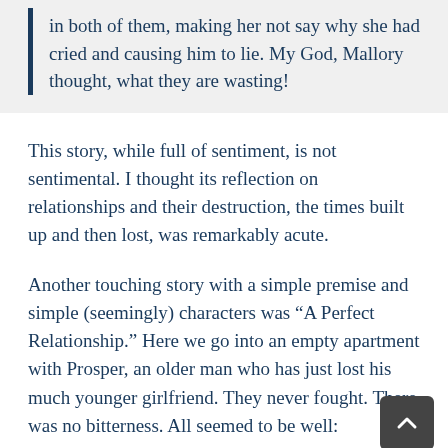in both of them, making her not say why she had cried and causing him to lie. My God, Mallory thought, what they are wasting!
This story, while full of sentiment, is not sentimental. I thought its reflection on relationships and their destruction, the times built up and then lost, was remarkably acute.
Another touching story with a simple premise and simple (seemingly) characters was “A Perfect Relationship.” Here we go into an empty apartment with Prosper, an older man who has just lost his much younger girlfriend. They never fought. There was no bitterness. All seemed to be well: